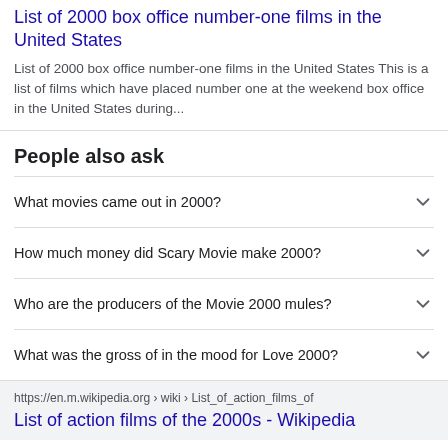List of 2000 box office number-one films in the United States
List of 2000 box office number-one films in the United States This is a list of films which have placed number one at the weekend box office in the United States during...
People also ask
What movies came out in 2000?
How much money did Scary Movie make 2000?
Who are the producers of the Movie 2000 mules?
What was the gross of in the mood for Love 2000?
https://en.m.wikipedia.org › wiki › List_of_action_films_of
List of action films of the 2000s - Wikipedia